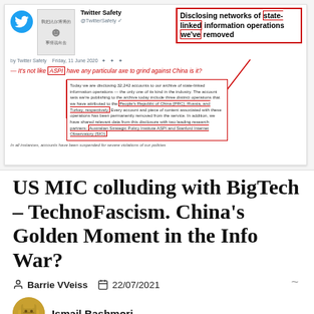[Figure (screenshot): Screenshot of a Twitter post by Twitter Safety showing 'Disclosing networks of state-linked information operations we've removed'. Includes a Chinese meme image, the text 'It's not like ASPI have any particular axe to grind against China is it?' with red annotation boxes around 'ASPI', 'state-linked', 'linked', 'we've', and the section mentioning People's Republic of China (PRC), Russia, and Turkey, and research partners ASPI and Stanford Internet Observatory (SIO).]
US MIC colluding with BigTech – TechnoFascism. China's Golden Moment in the Info War?
Barrie VVeiss   22/07/2021
Ismail Bashmori